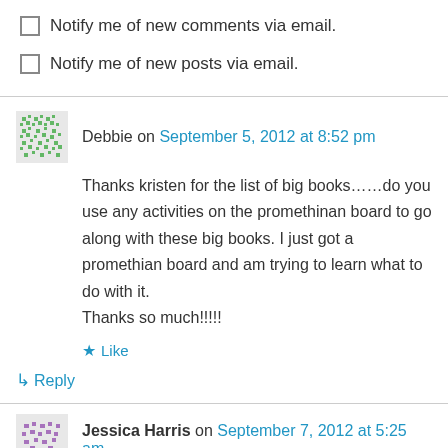Notify me of new comments via email.
Notify me of new posts via email.
Debbie on September 5, 2012 at 8:52 pm
Thanks kristen for the list of big books……do you use any activities on the promethinan board to go along with these big books. I just got a promethian board and am trying to learn what to do with it.
Thanks so much!!!!!
Like
Reply
Jessica Harris on September 7, 2012 at 5:25 am